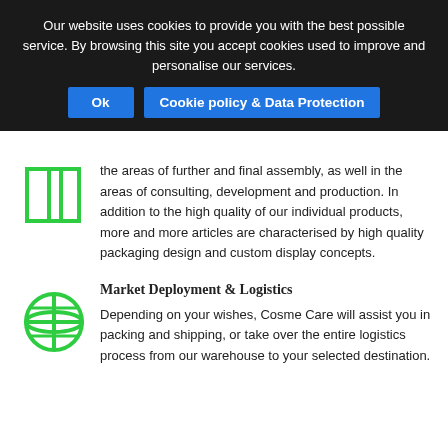Our website uses cookies to provide you with the best possible service. By browsing this site you accept cookies used to improve and personalise our services.
Ok | Cookie policy & Data Protection
the areas of further and final assembly, as well in the areas of consulting, development and production. In addition to the high quality of our individual products, more and more articles are characterised by high quality packaging design and custom display concepts.
Market Deployment & Logistics
Depending on your wishes, Cosme Care will assist you in packing and shipping, or take over the entire logistics process from our warehouse to your selected destination.